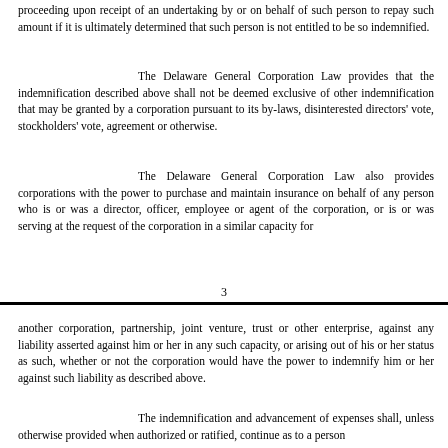proceeding upon receipt of an undertaking by or on behalf of such person to repay such amount if it is ultimately determined that such person is not entitled to be so indemnified.
The Delaware General Corporation Law provides that the indemnification described above shall not be deemed exclusive of other indemnification that may be granted by a corporation pursuant to its by-laws, disinterested directors' vote, stockholders' vote, agreement or otherwise.
The Delaware General Corporation Law also provides corporations with the power to purchase and maintain insurance on behalf of any person who is or was a director, officer, employee or agent of the corporation, or is or was serving at the request of the corporation in a similar capacity for
3
another corporation, partnership, joint venture, trust or other enterprise, against any liability asserted against him or her in any such capacity, or arising out of his or her status as such, whether or not the corporation would have the power to indemnify him or her against such liability as described above.
The indemnification and advancement of expenses shall, unless otherwise provided when authorized or ratified, continue as to a person who has ceased to be a director, officer, employee or agent of the corporation, or